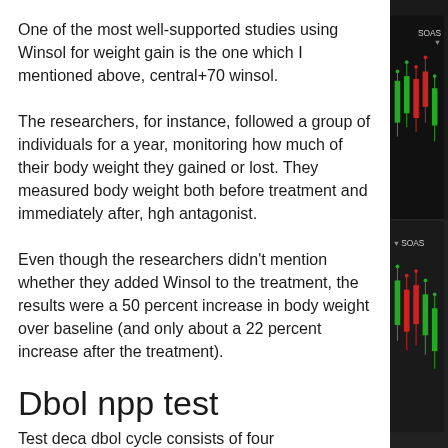One of the most well-supported studies using Winsol for weight gain is the one which I mentioned above, central+70 winsol.
The researchers, for instance, followed a group of individuals for a year, monitoring how much of their body weight they gained or lost. They measured body weight both before treatment and immediately after, hgh antagonist.
Even though the researchers didn't mention whether they added Winsol to the treatment, the results were a 50 percent increase in body weight over baseline (and only about a 22 percent increase after the treatment).
Dbol npp test
Test deca dbol cycle consists of four
[Figure (photo): Stock market candlestick chart on dark background with red and green candlesticks, partially visible on the right side of the page. A 'SOAS' label visible at top right and bottom right.]